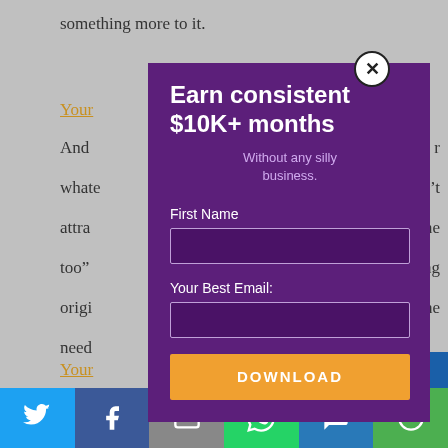something more to it.
Your [link text]
And ... r
whate... on't
attra... “me
too” b... ng
origi... e the
need...
[Figure (screenshot): A popup/modal overlay on a webpage with purple background. Title reads 'Earn consistent $10K+ months'. Subtitle: 'Without any silly business.' Form fields for First Name and Your Best Email, with an orange DOWNLOAD button.]
Your [link text]
busi... nt,
answe... xities
[Figure (infographic): Social sharing bar at the bottom with icons for Twitter, Facebook, Email, WhatsApp, SMS, and More (in blue, dark blue, grey, green, blue, green colors).]